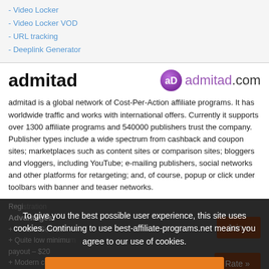- Video Locker
- Video Locker VOD
- URL tracking
- Deeplink Generator
admitad
[Figure (logo): admitad.com logo with purple circle icon]
admitad is a global network of Cost-Per-Action affiliate programs. It has worldwide traffic and works with international offers. Currently it supports over 1300 affiliate programs and 540000 publishers trust the company. Publisher types include a wide spectrum from cashback and coupon sites; marketplaces such as content sites or comparison sites; bloggers and vloggers, including YouTube; e-mailing publishers, social networks and other platforms for retargeting; and, of course, popup or click under toolbars with banner and teaser networks.
To give you the best possible user experience, this site uses cookies. Continuing to use best-affiliate-programs.net means you agree to our use of cookies.
X Close